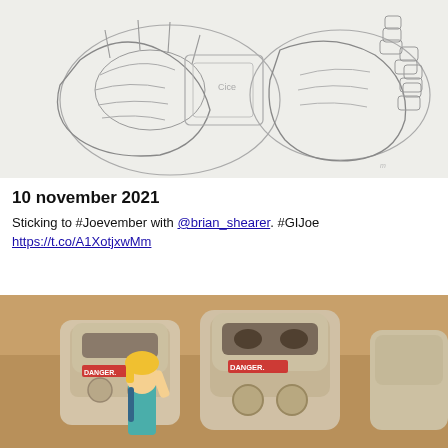[Figure (illustration): Pencil sketch drawing showing two large fists or robotic hands holding objects, rough linework on white paper]
10 november 2021
Sticking to #Joevember with @brian_shearer. #GIJoe https://t.co/A1XotjxwMm
[Figure (illustration): Colored illustration on tan/brown paper showing a person with blonde hair standing in front of large robot/mech suits labeled DANGER, rendered in marker or watercolor style]